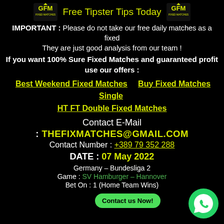Free Tipster Tips Today
IMPORTANT : Please do not take our free daily matches as a fixed
They are just good analysis from our team !
If you want 100% Sure Fixed Matches and guaranteed profit use our offers :
Best Weekend Fixed Matches   Buy Fixed Matches Single   HT FT Double Fixed Matches
Contact E-Mail
: THEFIXMATCHES@GMAIL.COM
Contact Number : +389 79 352 288
DATE : 07 May 2022
Germany – Bundesliga 2
Game : SV Hamburger – Hannover
Bet On : 1 (Home Team Wins)